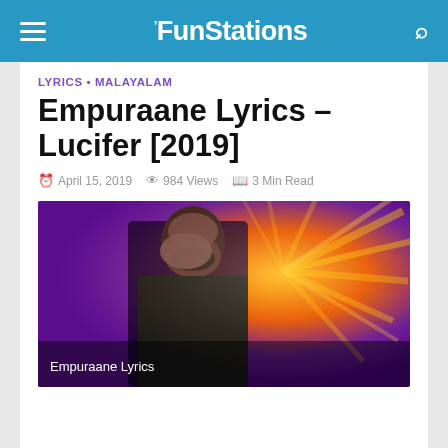TheFunStations
LYRICS • MALAYALAM
Empuraane Lyrics – Lucifer [2019]
April 15, 2019  984 Views  3 Min Read
[Figure (photo): A man with beard covering his face with his hand, standing in front of colorful radial lights background. Caption: Empuraane Lyrics]
Empuraane Lyrics